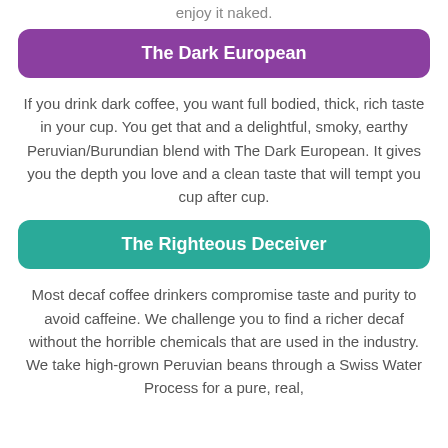enjoy it naked.
The Dark European
If you drink dark coffee, you want full bodied, thick, rich taste in your cup. You get that and a delightful, smoky, earthy Peruvian/Burundian blend with The Dark European. It gives you the depth you love and a clean taste that will tempt you cup after cup.
The Righteous Deceiver
Most decaf coffee drinkers compromise taste and purity to avoid caffeine. We challenge you to find a richer decaf without the horrible chemicals that are used in the industry. We take high-grown Peruvian beans through a Swiss Water Process for a pure, real,